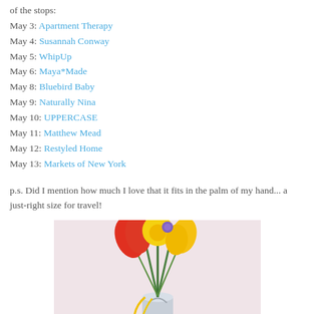of the stops:
May 3: Apartment Therapy
May 4: Susannah Conway
May 5: WhipUp
May 6: Maya*Made
May 8: Bluebird Baby
May 9: Naturally Nina
May 10: UPPERCASE
May 11: Matthew Mead
May 12: Restyled Home
May 13: Markets of New York
p.s. Did I mention how much I love that it fits in the palm of my hand... a just-right size for travel!
[Figure (photo): A bouquet of colorful spring flowers including red and orange tulips, yellow daffodils, and purple flowers in a small metallic vase on a pink polka-dot tablecloth, with a blue envelope visible at the bottom.]